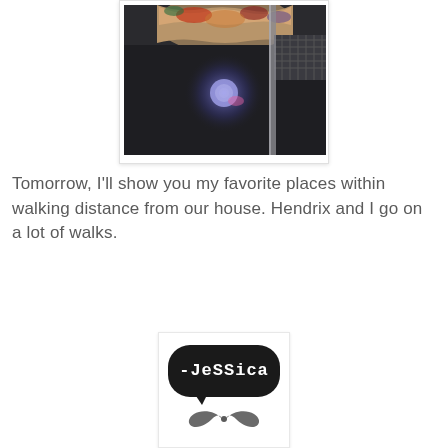[Figure (photo): Photograph of a decorative ceiling with an ornate hanging lamp or chandelier, a spotlight, metal grid ventilation, and dark ceiling, viewed from below.]
Tomorrow, I'll show you my favorite places within walking distance from our house. Hendrix and I go on a lot of walks.
[Figure (logo): A speech bubble logo in black with the text '-JeSSica' in white, and a decorative mustache graphic below it, on a white card background.]